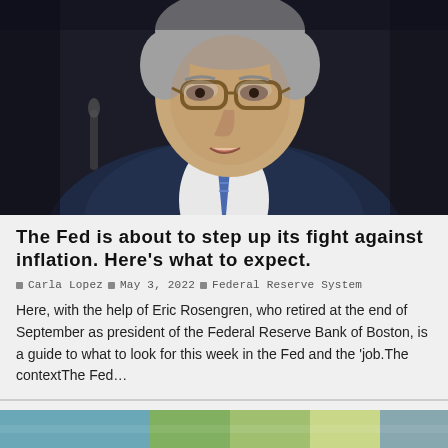[Figure (photo): Close-up photograph of a grey-haired older man in a dark navy suit with a blue striped tie, wearing brown-framed glasses, speaking at what appears to be a congressional or official hearing, with a microphone visible in the background.]
The Fed is about to step up its fight against inflation. Here’s what to expect.
□ Carla Lopez □ May 3, 2022 □ Federal Reserve System
Here, with the help of Eric Rosengren, who retired at the end of September as president of the Federal Reserve Bank of Boston, is a guide to what to look for this week in the Fed and the ‘job.The contextThe Fed…
[Figure (photo): Partial view of a colorful outdoor landscape photograph at the bottom of the page, partially cut off.]